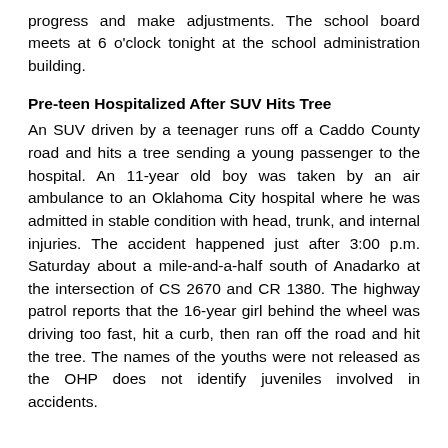progress and make adjustments. The school board meets at 6 o'clock tonight at the school administration building.
Pre-teen Hospitalized After SUV Hits Tree
An SUV driven by a teenager runs off a Caddo County road and hits a tree sending a young passenger to the hospital. An 11-year old boy was taken by an air ambulance to an Oklahoma City hospital where he was admitted in stable condition with head, trunk, and internal injuries. The accident happened just after 3:00 p.m. Saturday about a mile-and-a-half south of Anadarko at the intersection of CS 2670 and CR 1380. The highway patrol reports that the 16-year girl behind the wheel was driving too fast, hit a curb, then ran off the road and hit the tree. The names of the youths were not released as the OHP does not identify juveniles involved in accidents.